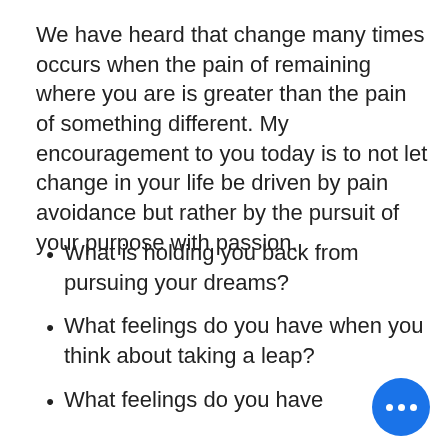We have heard that change many times occurs when the pain of remaining where you are is greater than the pain of something different. My encouragement to you today is to not let change in your life be driven by pain avoidance but rather by the pursuit of your purpose with passion.
What is holding you back from pursuing your dreams?
What feelings do you have when you think about taking a leap?
What feelings do you have